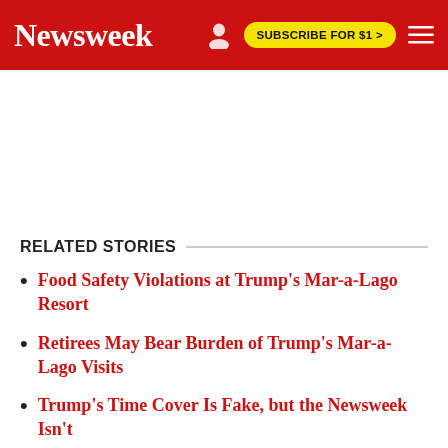Newsweek | SUBSCRIBE FOR $1 >
RELATED STORIES
Food Safety Violations at Trump's Mar-a-Lago Resort
Retirees May Bear Burden of Trump's Mar-a-Lago Visits
Trump's Time Cover Is Fake, but the Newsweek Isn't